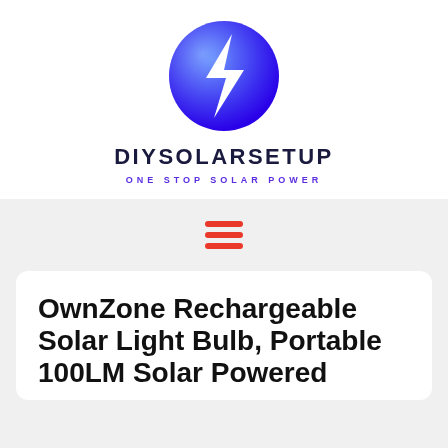[Figure (logo): DIYSolarSetup logo: a blue circle with a white lightning bolt graphic, gradient blue colors]
DIYSOLARSETUP
ONE STOP SOLAR POWER
[Figure (other): Hamburger menu icon with three horizontal red lines]
OwnZone Rechargeable Solar Light Bulb, Portable 100LM Solar Powered...